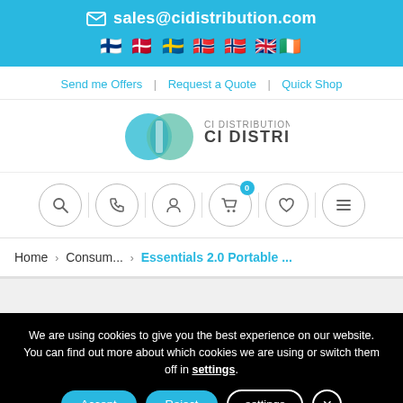sales@cidistribution.com
Send me Offers | Request a Quote | Quick Shop
[Figure (logo): CI Distribution logo with two overlapping circles and text CI DISTRIBUTION]
[Figure (infographic): Navigation icon row: search, phone, user, cart (0), heart, menu]
Home > Consum... > Essentials 2.0 Portable ...
We are using cookies to give you the best experience on our website. You can find out more about which cookies we are using or switch them off in settings.
Accept  Reject  settings  ×